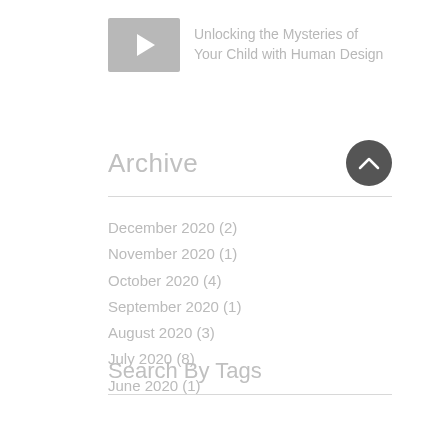[Figure (other): Video thumbnail placeholder with play button icon]
Unlocking the Mysteries of Your Child with Human Design
Archive
December 2020 (2)
November 2020 (1)
October 2020 (4)
September 2020 (1)
August 2020 (3)
July 2020 (8)
June 2020 (1)
Search By Tags